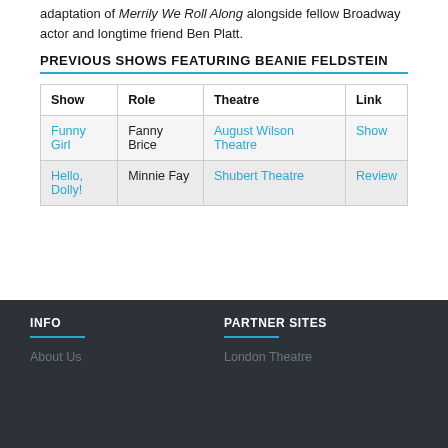adaptation of Merrily We Roll Along alongside fellow Broadway actor and longtime friend Ben Platt.
PREVIOUS SHOWS FEATURING BEANIE FELDSTEIN
| Show | Role | Theatre | Link |
| --- | --- | --- | --- |
| Funny Girl | Fanny Brice | August Wilson Theatre | Show |
| Hello, Dolly! | Minnie Fay | Shubert Theatre | Review |
INFO | About Us | PARTNER SITES | London Theatre